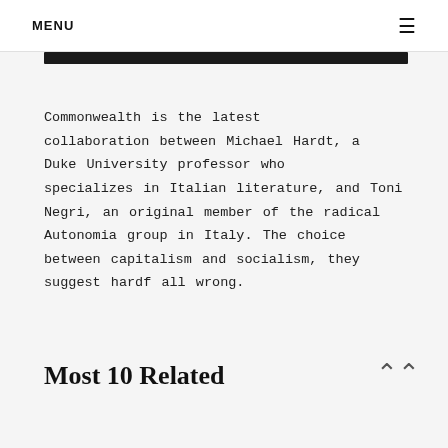MENU ≡
Commonwealth is the latest collaboration between Michael Hardt, a Duke University professor who specializes in Italian literature, and Toni Negri, an original member of the radical Autonomia group in Italy. The choice between capitalism and socialism, they suggest hardf all wrong.
Most 10 Related
DILIP HIRO AFTER EMPIRE PDF